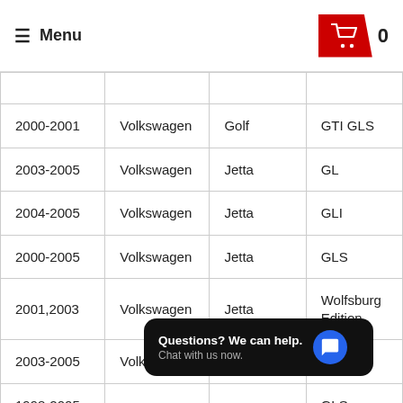≡ Menu | Cart 0
| Year | Make | Model | Trim |
| --- | --- | --- | --- |
|  |  |  |  |
| 2000-2001 | Volkswagen | Golf | GTI GLS |
| 2003-2005 | Volkswagen | Jetta | GL |
| 2004-2005 | Volkswagen | Jetta | GLI |
| 2000-2005 | Volkswagen | Jetta | GLS |
| 2001,2003 | Volkswagen | Jetta | Wolfsburg Edition |
| 2003-2005 | Volkswagen | Passat | GL |
| 1998-2005 | Volkswagen |  | GLS |
| 2004-2005 | Volkswagen | Passat | GLS 4 |
Questions? We can help. Chat with us now.